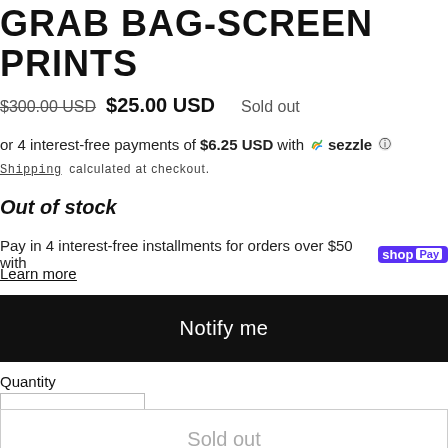GRAB BAG-SCREEN PRINTS
$300.00 USD  $25.00 USD  Sold out
or 4 interest-free payments of $6.25 USD with Sezzle
Shipping calculated at checkout.
Out of stock
Pay in 4 interest-free installments for orders over $50 with Shop Pay
Learn more
Notify me
Quantity
- 1 +
Sold out